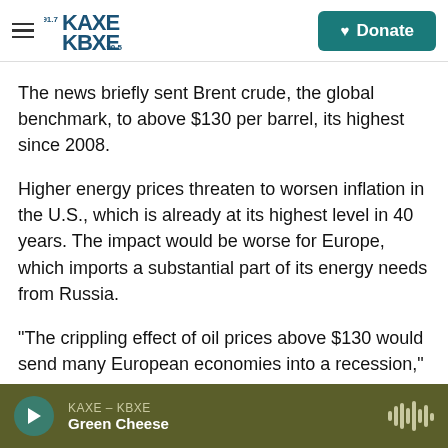KAXE 91.7 / KBXE 90.5 | Donate
The news briefly sent Brent crude, the global benchmark, to above $130 per barrel, its highest since 2008.
Higher energy prices threaten to worsen inflation in the U.S., which is already at its highest level in 40 years. The impact would be worse for Europe, which imports a substantial part of its energy needs from Russia.
"The crippling effect of oil prices above $130 would send many European economies into a recession,"
KAXE – KBXE | Green Cheese